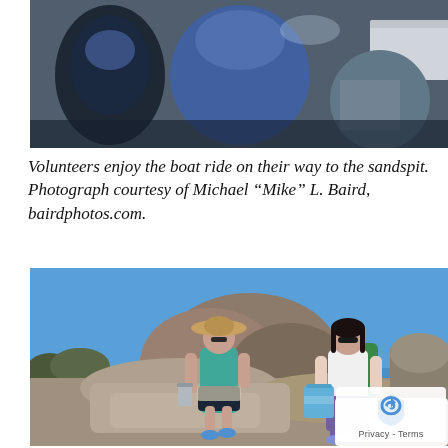[Figure (photo): People sitting on a boat, wearing casual clothing including blue shirts and plaid shorts, viewed from close up]
Volunteers enjoy the boat ride on their way to the sandspit. Photograph courtesy of Michael “Mike” L. Baird, bairdphotos.com.
[Figure (photo): Two women standing on rocky terrain outdoors under a clear blue sky. One woman wears a sun hat, teal tank top, and carries a metal bucket. The other wears a white shirt, sunglasses, and carries a green backpack and blue tote bag. Rocky hills visible in background.]